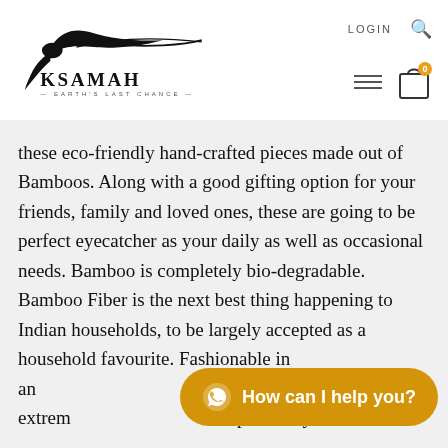[Figure (logo): Ksamah logo with bird silhouette and tagline 'Earth's Last Chance']
these eco-friendly hand-crafted pieces made out of Bamboos. Along with a good gifting option for your friends, family and loved ones, these are going to be perfect eyecatcher as your daily as well as occasional needs. Bamboo is completely bio-degradable. Bamboo Fiber is the next best thing happening to Indian households, to be largely accepted as a household favourite. Fashionable in an... ware are extrem... positively food safe.